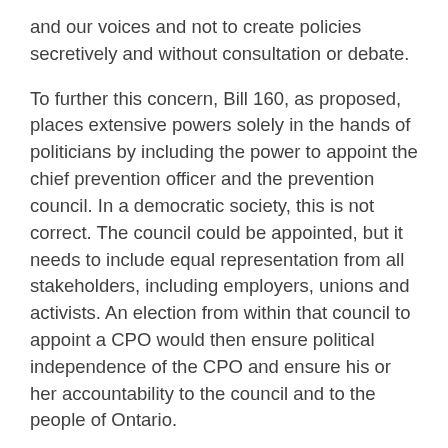and our voices and not to create policies secretively and without consultation or debate.
To further this concern, Bill 160, as proposed, places extensive powers solely in the hands of politicians by including the power to appoint the chief prevention officer and the prevention council. In a democratic society, this is not correct. The council could be appointed, but it needs to include equal representation from all stakeholders, including employers, unions and activists. An election from within that council to appoint a CPO would then ensure political independence of the CPO and ensure his or her accountability to the council and to the people of Ontario.
In conclusion, Bill 160 must recognize that the ultimate responsibility for the health and safety of workers in this province lies firmly in their ability to exercise their rights to a safe workplace. By holding those in senior positions responsible and liable in a system where they are regularly receiving fines for blatantly threatening or coercing